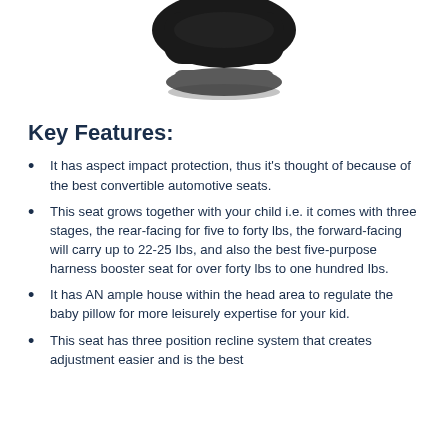[Figure (photo): Partial view of a black convertible car seat, showing the bottom/base portion against a white background.]
Key Features:
It has aspect impact protection, thus it's thought of because of the best convertible automotive seats.
This seat grows together with your child i.e. it comes with three stages, the rear-facing for five to forty lbs, the forward-facing will carry up to 22-25 Ibs, and also the best five-purpose harness booster seat for over forty lbs to one hundred Ibs.
It has AN ample house within the head area to regulate the baby pillow for more leisurely expertise for your kid.
This seat has three position recline system that creates adjustment easier and is the best